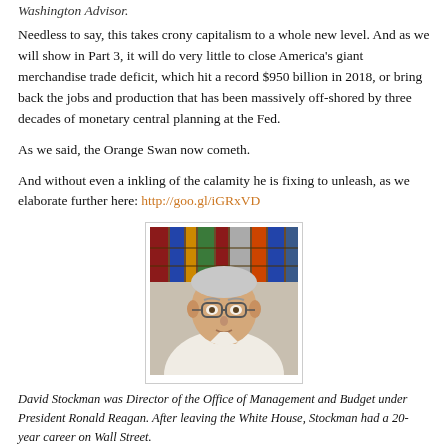Needless to say, this takes crony capitalism to a whole new level. And as we will show in Part 3, it will do very little to close America’s giant merchandise trade deficit, which hit a record $950 billion in 2018, or bring back the jobs and production that has been massively off-shored by three decades of monetary central planning at the Fed.
As we said, the Orange Swan now cometh.
And without even a inkling of the calamity he is fixing to unleash, as we elaborate further here: http://goo.gl/iGRxVD
[Figure (photo): Portrait photo of David Stockman, an older man with gray hair and glasses, wearing a white shirt, with bookshelves in the background.]
David Stockman was Director of the Office of Management and Budget under President Ronald Reagan. After leaving the White House, Stockman had a 20-year career on Wall Street.